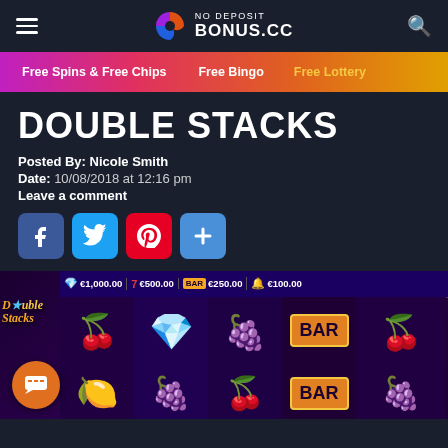NO DEPOSIT BONUS.CC
Free Spins & Free Chips | Free Bingo | Free Lottery
DOUBLE STACKS
Posted By: Nicole Smith
Date: 10/08/2018 at 12:16 pm
Leave a comment
[Figure (screenshot): Social share buttons: Facebook (blue), Twitter (light blue), Pinterest (red), Share/Plus (blue)]
[Figure (screenshot): Double Stacks slot game screenshot showing reels with fruit symbols, diamond, BAR symbols. Prize display at top: Diamond €1,000.00, 7 €500.00, BAR €250.00, Bell €100.00. Orange chat bubble button in bottom left.]